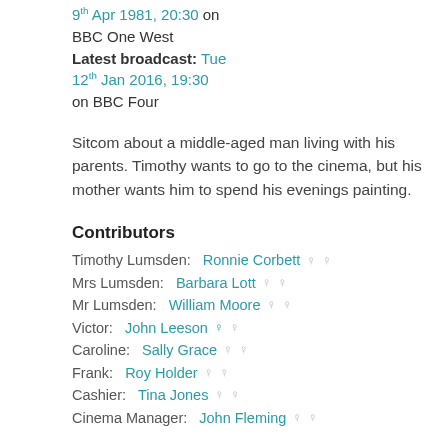9th Apr 1981, 20:30 on BBC One West
Latest broadcast: Tue 12th Jan 2016, 19:30 on BBC Four
Sitcom about a middle-aged man living with his parents. Timothy wants to go to the cinema, but his mother wants him to spend his evenings painting.
Contributors
Timothy Lumsden: Ronnie Corbett
Mrs Lumsden: Barbara Lott
Mr Lumsden: William Moore
Victor: John Leeson
Caroline: Sally Grace
Frank: Roy Holder
Cashier: Tina Jones
Cinema Manager: John Fleming